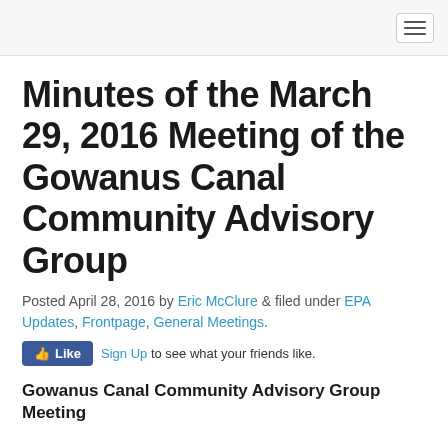[Navigation bar with hamburger menu]
Minutes of the March 29, 2016 Meeting of the Gowanus Canal Community Advisory Group
Posted April 28, 2016 by Eric McClure & filed under EPA Updates, Frontpage, General Meetings.
[Figure (other): Facebook Like button with Sign Up text]
Gowanus Canal Community Advisory Group Meeting